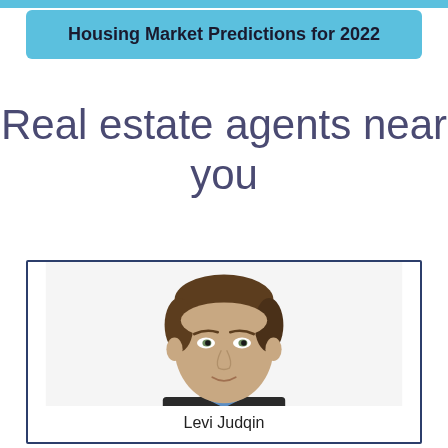Housing Market Predictions for 2022
Real estate agents near you
[Figure (photo): Headshot of real estate agent Levi Judqin, a man with short brown hair wearing a blue shirt and dark jacket, against a white background, inside a bordered card]
Levi Judqin